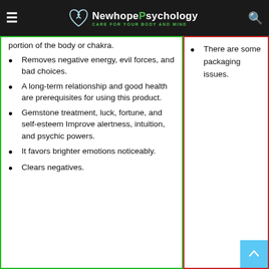NewhopePsychology — CARE FOR YOUR BODY AND MIND
portion of the body or chakra.
Removes negative energy, evil forces, and bad choices.
A long-term relationship and good health are prerequisites for using this product.
Gemstone treatment, luck, fortune, and self-esteem Improve alertness, intuition, and psychic powers.
It favors brighter emotions noticeably.
Clears negatives.
There are some packaging issues.